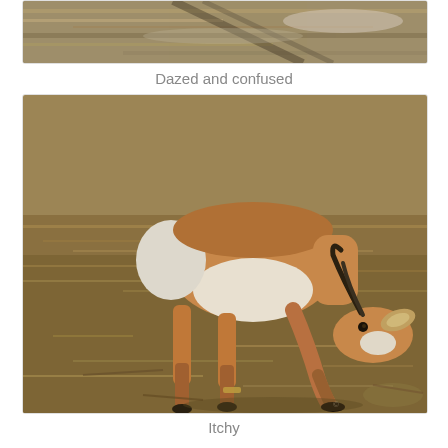[Figure (photo): Partial top portion of a photo showing dry grassland/scrubland terrain, cropped at top of page]
Dazed and confused
[Figure (photo): A pronghorn antelope bending its head down toward the ground, appearing to scratch or sniff, standing on dry brown grassland]
Itchy